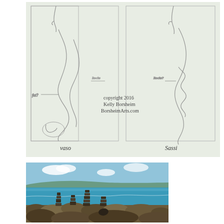[Figure (illustration): Pencil sketch on green-tinted paper showing two compositional studies of a figure with flowing hair or fabric. Left panel labeled 'Vaso', right panel labeled 'Sassi'. Annotations visible. Copyright watermark: 'copyright 2016 Kelly Borsheim BorsheimArts.com'.]
[Figure (photo): Photograph of stacked stone cairns (balanced rocks) arranged on a rocky coastal shoreline with turquoise ocean water and a blue sky with white clouds in the background.]